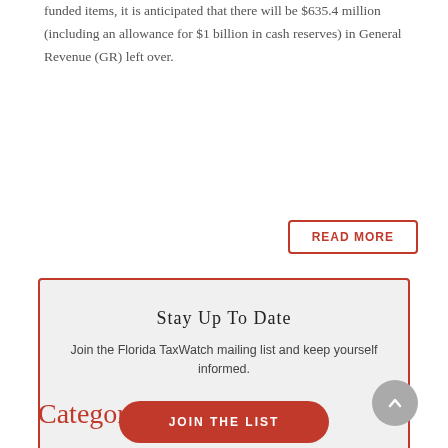funded items, it is anticipated that there will be $635.4 million (including an allowance for $1 billion in cash reserves) in General Revenue (GR) left over.
READ MORE
Stay Up To Date
Join the Florida TaxWatch mailing list and keep yourself informed.
JOIN THE LIST
Categories